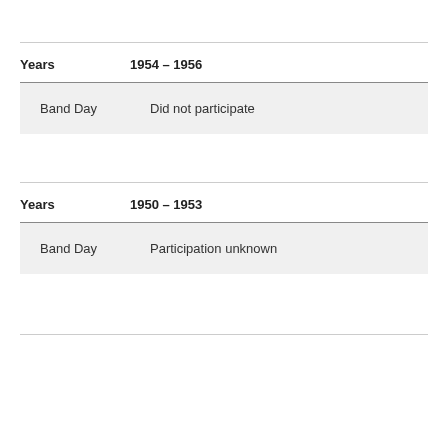| Years | 1954 – 1956 |
| --- | --- |
| Band Day | Did not participate |
| Years | 1950 – 1953 |
| --- | --- |
| Band Day | Participation unknown |